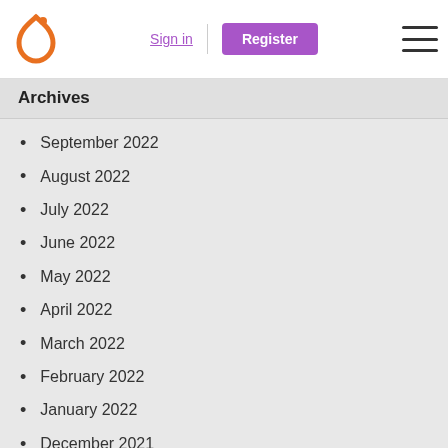Sign in | Register
Archives
September 2022
August 2022
July 2022
June 2022
May 2022
April 2022
March 2022
February 2022
January 2022
December 2021
November 2021
October 2021
September 2021
August 2021
July 2021
June 2021
May 2021
April 2021
March 2021